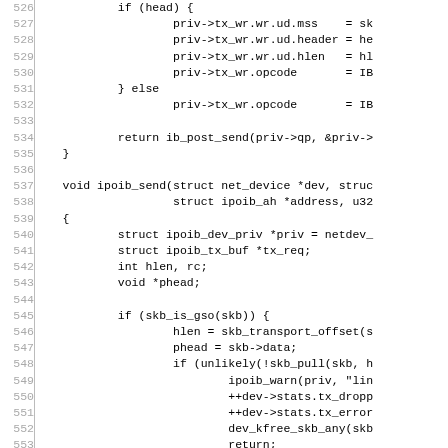[Figure (screenshot): Source code listing showing lines 526-555 of a C file implementing ipoib_send function. Lines include conditional logic for setting priv->tx_wr fields, return ib_post_send call, void ipoib_send function definition, struct declarations, and skb_is_gso conditional block.]